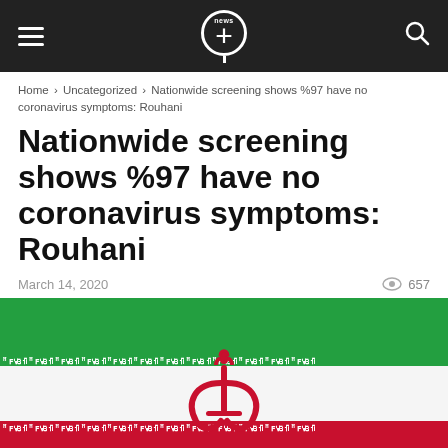news+ [logo] [hamburger menu] [search icon]
Home › Uncategorized › Nationwide screening shows %97 have no coronavirus symptoms: Rouhani
Nationwide screening shows %97 have no coronavirus symptoms: Rouhani
March 14, 2020   👁 657
[Figure (photo): Iranian flag showing green, white, and red horizontal stripes with the emblem of Iran (stylized Allah symbol in red) in the center and decorative Arabic script border strips at the green-white and white-red boundaries.]